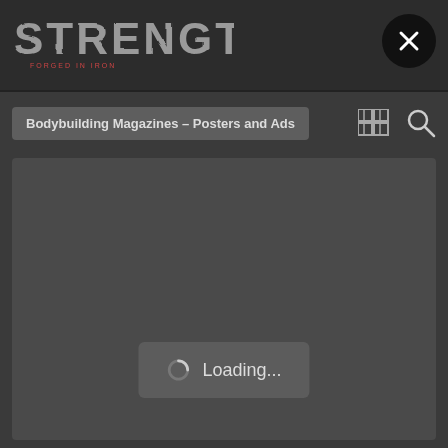STRENGTH (logo/header bar with close button)
Bodybuilding Magazines – Posters and Ads
[Figure (screenshot): Dark loading screen with a spinner and 'Loading...' text centered in the content area]